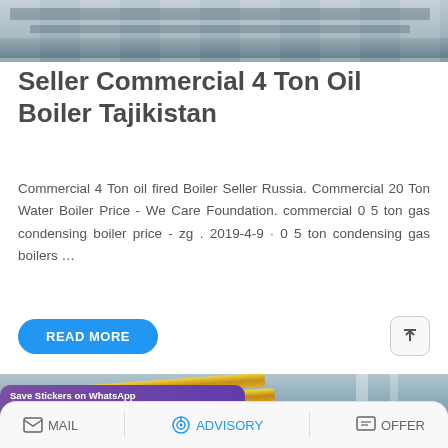[Figure (photo): Industrial machinery or boiler equipment, top portion of image showing factory ceiling/equipment]
Seller Commercial 4 Ton Oil Boiler Tajikistan
Commercial 4 Ton oil fired Boiler Seller Russia. Commercial 20 Ton Water Boiler Price - We Care Foundation. commercial 0 5 ton gas condensing boiler price - zg . 2019-4-9 · 0 5 ton condensing gas boilers ...
[Figure (photo): Industrial boiler facility with yellow pipes visible]
MAIL   ADVISORY   OFFER